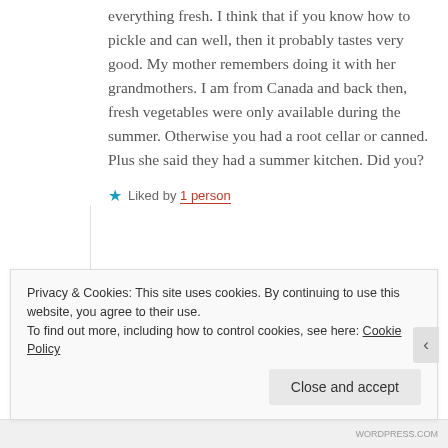everything fresh. I think that if you know how to pickle and can well, then it probably tastes very good. My mother remembers doing it with her grandmothers. I am from Canada and back then, fresh vegetables were only available during the summer. Otherwise you had a root cellar or canned. Plus she said they had a summer kitchen. Did you?
★ Liked by 1 person
Privacy & Cookies: This site uses cookies. By continuing to use this website, you agree to their use. To find out more, including how to control cookies, see here: Cookie Policy